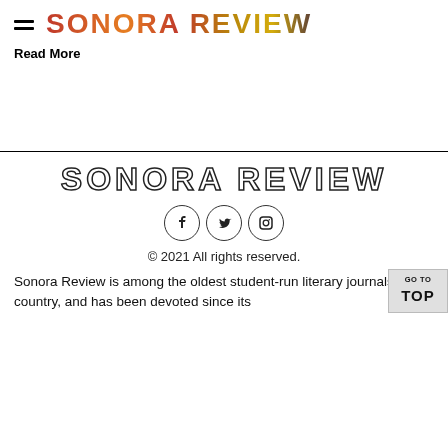SONORA REVIEW
Read More
SONORA REVIEW
[Figure (other): Social media icons: Facebook, Twitter, Instagram in circular outlines]
© 2021 All rights reserved.
Sonora Review is among the oldest student-run literary journals in the country, and has been devoted since its founding to...